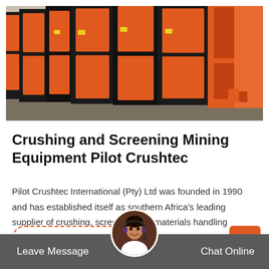[Figure (photo): Stacked orange and black industrial mining screening/crushing equipment panels in a warehouse or yard setting.]
Crushing and Screening Mining Equipment Pilot Crushtec
Pilot Crushtec International (Pty) Ltd was founded in 1990 and has established itself as southern Africa's leading supplier of crushing, screening and materials handling solutions.
Read More
Leave Message  Chat Online